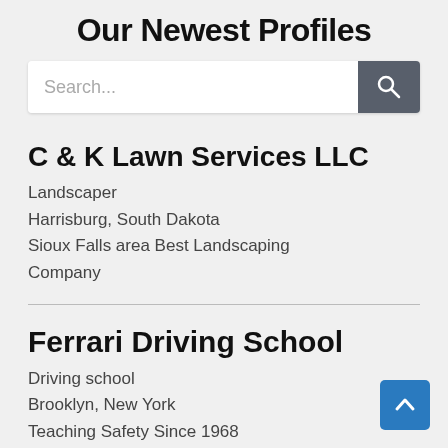Our Newest Profiles
[Figure (screenshot): Search bar with text input placeholder 'Search...' and a dark gray search button with magnifying glass icon]
C & K Lawn Services LLC
Landscaper
Harrisburg, South Dakota
Sioux Falls area Best Landscaping Company
Ferrari Driving School
Driving school
Brooklyn, New York
Teaching Safety Since 1968